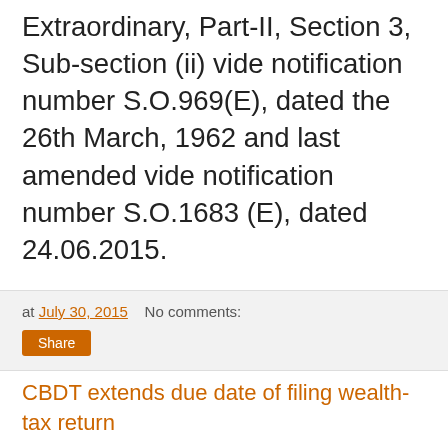Extraordinary, Part-II, Section 3, Sub-section (ii) vide notification number S.O.969(E), dated the 26th March, 1962 and last amended vide notification number S.O.1683 (E), dated 24.06.2015.
at July 30, 2015   No comments:
Share
CBDT extends due date of filing wealth-tax return
CBDT extends due date of